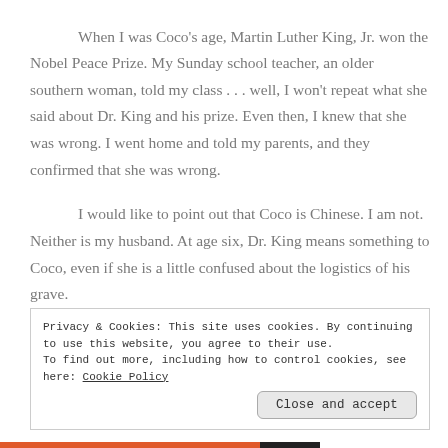When I was Coco's age, Martin Luther King, Jr. won the Nobel Peace Prize.  My Sunday school teacher, an older southern woman, told my class . . . well, I won't repeat what she said about Dr. King and his prize.  Even then, I knew that she was wrong.  I went home and told my parents, and they confirmed that she was wrong.
I would like to point out that Coco is Chinese.  I am not.  Neither is my husband. At age six, Dr. King means something to Coco, even if she is a little confused about the logistics of his grave.
Privacy & Cookies: This site uses cookies. By continuing to use this website, you agree to their use.
To find out more, including how to control cookies, see here: Cookie Policy
Close and accept